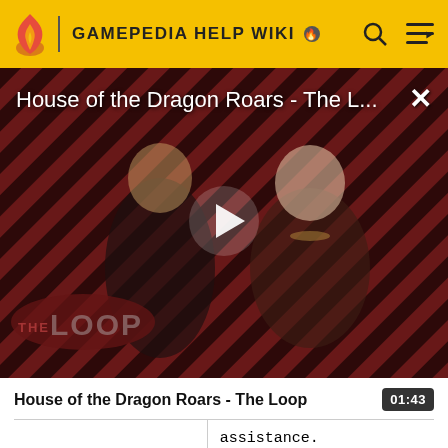GAMEPEDIA HELP WIKI
[Figure (screenshot): Video thumbnail for 'House of the Dragon Roars - The Loop' showing two characters in medieval fantasy costumes against a diagonal red and black striped background with 'THE LOOP' text overlay and a play button]
House of the Dragon Roars - The Loop
|  | assistance. |
| required_by | Vyžaduje |
| requires | Vyžaduie |